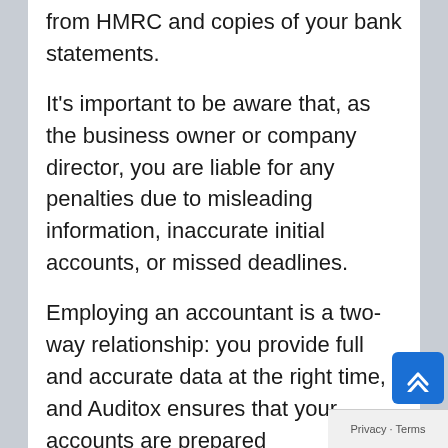from HMRC and copies of your bank statements.
It's important to be aware that, as the business owner or company director, you are liable for any penalties due to misleading information, inaccurate initial accounts, or missed deadlines.
Employing an accountant is a two-way relationship: you provide full and accurate data at the right time, and Auditox ensures that your accounts are prepared professionally and competently.
If your need professional accountancy services in Hadston East Chevington, contact Auditox Accountancy today.